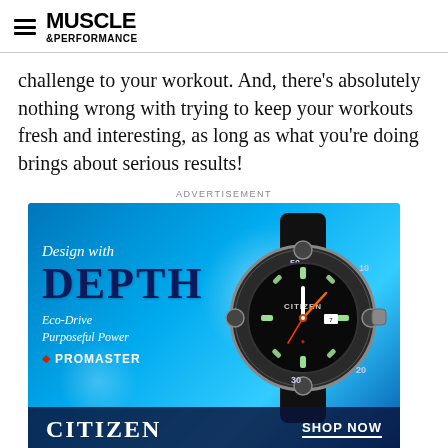MUSCLE & PERFORMANCE
challenge to your workout. And, there’s absolutely nothing wrong with trying to keep your workouts fresh and interesting, as long as what you’re doing brings about serious results!
ADVERTISEMENT
[Figure (photo): Citizen Promaster Eco-Drive watch advertisement with blue underwater background. Text reads: 'Design with DEPTH', 'Eco-Drive Purposeful Power', 'PROMASTER'. Bottom bar shows 'CITIZEN' and 'SHOP NOW'.]